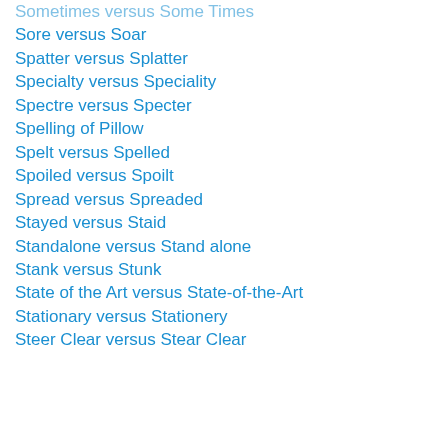Sometimes versus Some Times
Sore versus Soar
Spatter versus Splatter
Specialty versus Speciality
Spectre versus Specter
Spelling of Pillow
Spelt versus Spelled
Spoiled versus Spoilt
Spread versus Spreaded
Stayed versus Staid
Standalone versus Stand alone
Stank versus Stunk
State of the Art versus State-of-the-Art
Stationary versus Stationery
Steer Clear versus Stear Clear